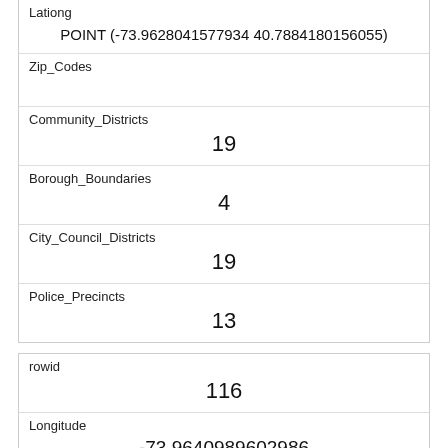| Lationg | POINT (-73.9628041577934 40.7884180156055) |
| Zip_Codes |  |
| Community_Districts | 19 |
| Borough_Boundaries | 4 |
| City_Council_Districts | 19 |
| Police_Precincts | 13 |
| rowid | 116 |
| Longitude | -73.9640989602986 |
| Latitude | 40.789929543926505 |
| Unique_Squirrel_ID | 29B-PM-1010-03 |